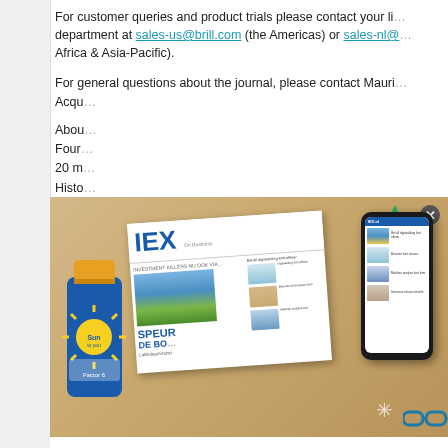For customer queries and product trials please contact your library department at sales-us@brill.com (the Americas) or sales-nl@... Africa & Asia-Pacific).
For general questions about the journal, please contact Mauri... Acqu...
About... Found... 20 m... Histo... With... new... mark... custo... comp... www...
[Figure (advertisement): IEX Premium advertisement overlay showing: sunscreen tube, IEX magazine/newspaper, smartphone with news app, and promotional text '3 maanden IEX Premium voor slechts 19,95' with green 'Profiteer nu' call-to-action button]
About... Laur... the C... The Center specializes in Islamic Legislation and Ethics with a... of: Methodology; Arts; Environment; Economics; Education; F... Migration & Human Rights; Politics; and Psychology. For mor...